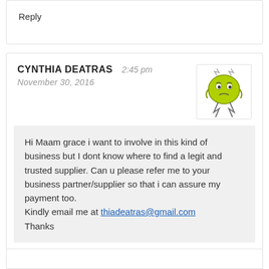Reply
CYNTHIA DEATRAS   2:45 pm
November 30, 2016
[Figure (illustration): Cartoon avatar of a green blob-like monster with lightning bolt legs and a distressed expression]
Hi Maam grace i want to involve in this kind of business but I dont know where to find a legit and trusted supplier. Can u please refer me to your business partner/supplier so that i can assure my payment too.
Kindly email me at thiadeatras@gmail.com
Thanks
Reply